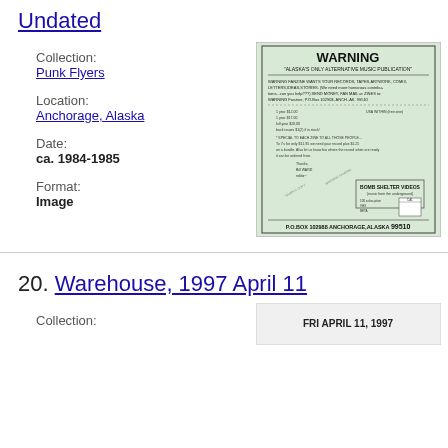Undated
Collection:
Punk Flyers
Location:
Anchorage, Alaska
Date:
ca. 1984-1985
Format:
Image
[Figure (photo): Scanned image of a punk flyer titled WARNING - Alaska's Only Alternative Music Publication, with text about submission requests and Bomb Shelter Videos, P.O. Box 102988 Anchorage Alaska 99510]
20. Warehouse, 1997 April 11
Collection:
[Figure (photo): Partial image of a flyer showing FRI APRIL 11 1997]